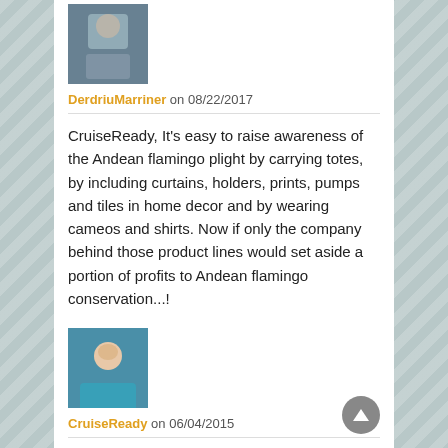[Figure (photo): Small avatar image of DerdriuMarriner - appears to show a person outdoors, dark/blueish tones]
DerdriuMarriner on 08/22/2017
CruiseReady, It's easy to raise awareness of the Andean flamingo plight by carrying totes, by including curtains, holders, prints, pumps and tiles in home decor and by wearing cameos and shirts. Now if only the company behind those product lines would set aside a portion of profits to Andean flamingo conservation...!
[Figure (photo): Avatar of CruiseReady - woman in teal/blue top, smiling]
CruiseReady on 06/04/2015
Thank you.
[Figure (photo): Avatar image at bottom - person in costume with orange/warm toned background]